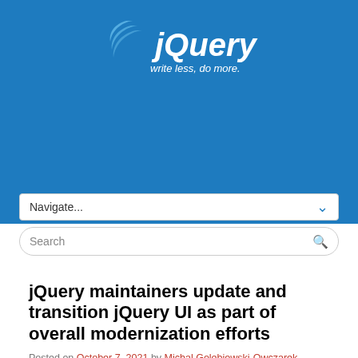[Figure (logo): jQuery logo with text 'write less, do more.' on blue background]
jQuery maintainers update and transition jQuery UI as part of overall modernization efforts
Posted on October 7, 2021 by Michal Golebiowski-Owczarek